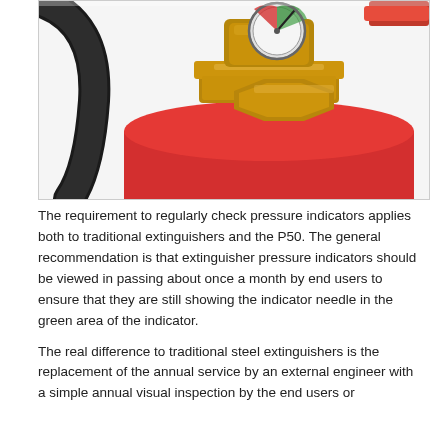[Figure (photo): Close-up photo of the top of a red fire extinguisher showing a brass valve/nozzle head with a pressure gauge dial (showing needle in the green zone) and a black hose curving around the left side. The extinguisher body is bright red.]
The requirement to regularly check pressure indicators applies both to traditional extinguishers and the P50. The general recommendation is that extinguisher pressure indicators should be viewed in passing about once a month by end users to ensure that they are still showing the indicator needle in the green area of the indicator.
The real difference to traditional steel extinguishers is the replacement of the annual service by an external engineer with a simple annual visual inspection by the end users or